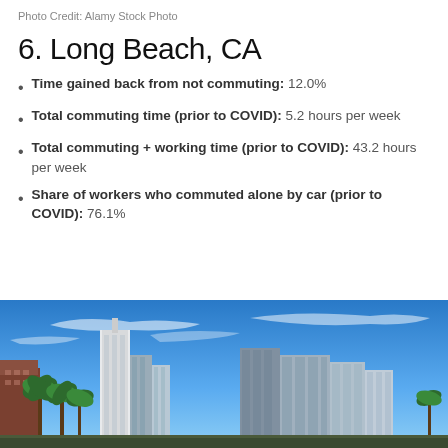Photo Credit: Alamy Stock Photo
6. Long Beach, CA
Time gained back from not commuting: 12.0%
Total commuting time (prior to COVID): 5.2 hours per week
Total commuting + working time (prior to COVID): 43.2 hours per week
Share of workers who commuted alone by car (prior to COVID): 76.1%
[Figure (photo): City skyline of Long Beach, CA showing tall buildings, palm trees against a blue sky with wispy clouds]